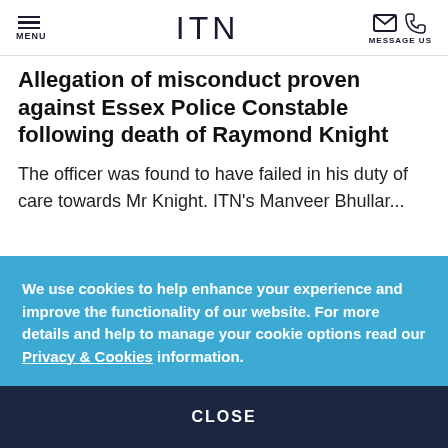MENU | ITN | MESSAGE US
Allegation of misconduct proven against Essex Police Constable following death of Raymond Knight
The officer was found to have failed in his duty of care towards Mr Knight. ITN's Manveer Bhullar...
We use cookies to help enhance your experience and improve the functionality of our website. For more details and help to manage your cookie options read our Privacy & Cookies information. CLOSE